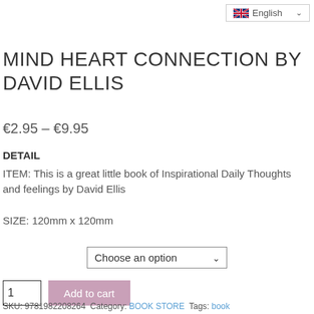[Figure (other): UK flag icon with English language selector dropdown in top right corner]
MIND HEART CONNECTION BY DAVID ELLIS
€2.95 – €9.95
DETAIL
ITEM: This is a great little book of Inspirational Daily Thoughts and feelings by David Ellis
SIZE: 120mm x 120mm
Choose an option
1  Add to cart
SKU: 9781982208264  Category: BOOK STORE  Tags: book